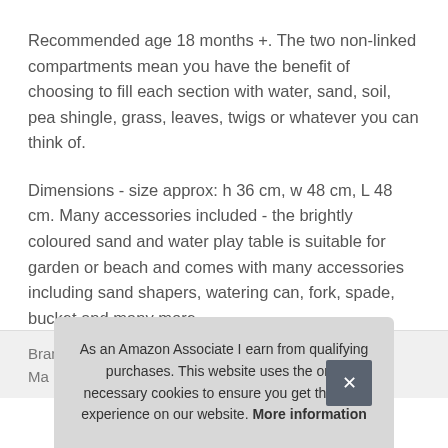Recommended age 18 months +. The two non-linked compartments mean you have the benefit of choosing to fill each section with water, sand, soil, pea shingle, grass, leaves, twigs or whatever you can think of.
Dimensions - size approx: h 36 cm, w 48 cm, L 48 cm. Many accessories included - the brightly coloured sand and water play table is suitable for garden or beach and comes with many accessories including sand shapers, watering can, fork, spade, bucket and many more.
| Brand |  |
| --- | --- |
| Ma |  |
As an Amazon Associate I earn from qualifying purchases. This website uses the only necessary cookies to ensure you get the best experience on our website. More information